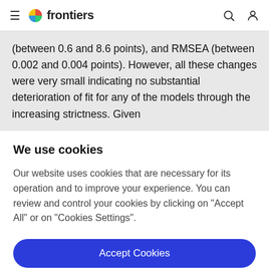frontiers
(between 0.6 and 8.6 points), and RMSEA (between 0.002 and 0.004 points). However, all these changes were very small indicating no substantial deterioration of fit for any of the models through the increasing strictness. Given
We use cookies
Our website uses cookies that are necessary for its operation and to improve your experience. You can review and control your cookies by clicking on "Accept All" or on "Cookies Settings".
Accept Cookies
Cookies Settings